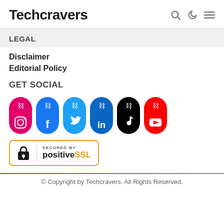Techcravers
LEGAL
Disclaimer
Editorial Policy
GET SOCIAL
[Figure (infographic): Six social media icon pills: Instagram (pink), Facebook (blue), Twitter (light blue), LinkedIn (dark blue), TikTok (black), YouTube (red), each with a chain/link icon on top and a brand icon at the bottom]
[Figure (logo): Secured by PositiveSSL badge with padlock icon and gold/yellow border]
© Copyright by Techcravers. All Rights Reserved.